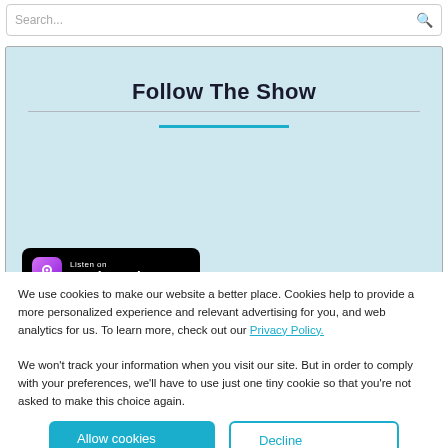Search...
Follow The Show
[Figure (logo): Apple Podcasts badge: Listen on Apple Podcasts, black rounded rectangle with purple podcast icon]
We use cookies to make our website a better place. Cookies help to provide a more personalized experience and relevant advertising for you, and web analytics for us. To learn more, check out our Privacy Policy.

We won't track your information when you visit our site. But in order to comply with your preferences, we'll have to use just one tiny cookie so that you're not asked to make this choice again.
Allow cookies | Decline